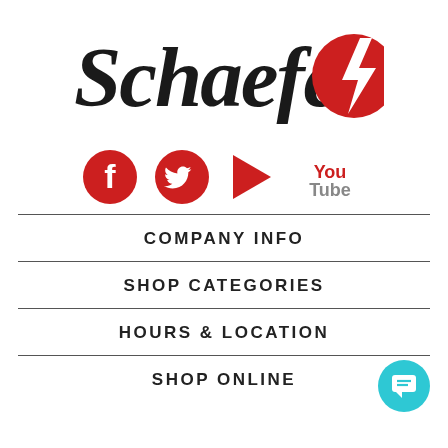[Figure (logo): Schaefer's logo with bold serif text and a red circle with white lightning bolt]
[Figure (infographic): Social media icons: Facebook (red circle with f), Twitter (red circle with bird), Play button (red triangle), YouTube (You Tube text in red/grey)]
COMPANY INFO
SHOP CATEGORIES
HOURS & LOCATION
SHOP ONLINE